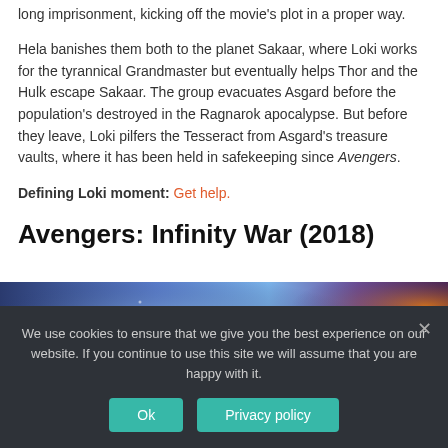long imprisonment, kicking off the movie's plot in a proper way.
Hela banishes them both to the planet Sakaar, where Loki works for the tyrannical Grandmaster but eventually helps Thor and the Hulk escape Sakaar. The group evacuates Asgard before the population's destroyed in the Ragnarok apocalypse. But before they leave, Loki pilfers the Tesseract from Asgard's treasure vaults, where it has been held in safekeeping since Avengers.
Defining Loki moment: Get help.
Avengers: Infinity War (2018)
[Figure (photo): Movie still from Avengers: Infinity War showing a dark scene with blue and purple lighting and a character's silhouette]
We use cookies to ensure that we give you the best experience on our website. If you continue to use this site we will assume that you are happy with it.